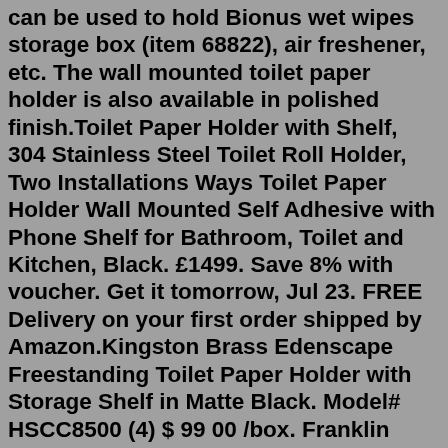can be used to hold Bionus wet wipes storage box (item 68822), air freshener, etc. The wall mounted toilet paper holder is also available in polished finish.Toilet Paper Holder with Shelf, 304 Stainless Steel Toilet Roll Holder, Two Installations Ways Toilet Paper Holder Wall Mounted Self Adhesive with Phone Shelf for Bathroom, Toilet and Kitchen, Black. £1499. Save 8% with voucher. Get it tomorrow, Jul 23. FREE Delivery on your first order shipped by Amazon.Kingston Brass Edenscape Freestanding Toilet Paper Holder with Storage Shelf in Matte Black. Model# HSCC8500 (4) $ 99 00 /box. Franklin Brass Freestanding Toilet Paper Holder with Reserve, Brushed Nickel. Model# 193150-SN (119) $ 21 20. Gatco Freestanding Toilet Paper Holder in Matte Black.Details. The Cooper Toilet Paper Holder boasts a convenient shelf used to hold personal items. Its highly functional and elegant design also features an open end, which allows for quick changing of toilet paper rolls. Multiple finish options are available to match other bathroom fixtures. This product pairs